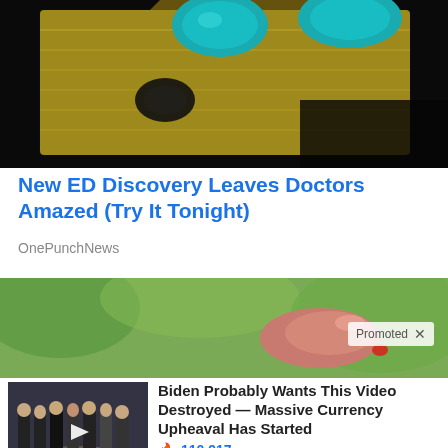[Figure (photo): Close-up photo of a blister pill pack with turquoise/teal pills on a dark background]
New ED Discovery Leaves Doctors Amazed (Try It Tonight)
OnePunchNews
[Figure (photo): Outdoor photo of a hand holding something, with a 'Promoted X' badge overlay]
[Figure (photo): Thumbnail of group of men in suits with Biden circled in red, with video play button overlay]
Biden Probably Wants This Video Destroyed — Massive Currency Upheaval Has Started
🔥 110,917
[Figure (photo): Thumbnail of prescription medicine bottles lined up]
4 Worst Blood Pressure Drugs (#2 Is Scary)
🔥 40,639